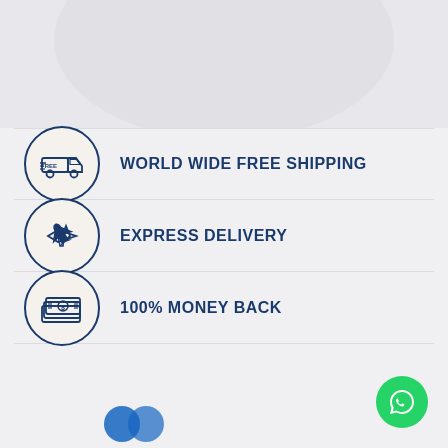[Figure (illustration): Top section with light gray background showing curved shirt neckline arc]
WORLD WIDE FREE SHIPPING
EXPRESS DELIVERY
100% MONEY BACK
[Figure (logo): Mastercard logo (two overlapping blue circles) at bottom left]
[Figure (illustration): Green circular WhatsApp button with white chat icon, bottom right]